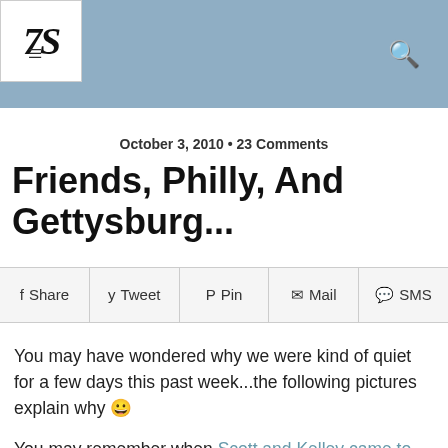7S [logo] with hamburger menu and search icon
October 3, 2010 • 23 Comments
Friends, Philly, And Gettysburg...
Share  Tweet  Pin  Mail  SMS
You may have wondered why we were kind of quiet for a few days this past week...the following pictures explain why 😀
You may remember when Scott and Kelley came to our house this past December and February, well this week we got to visit them AND meet Kelley's family for the first